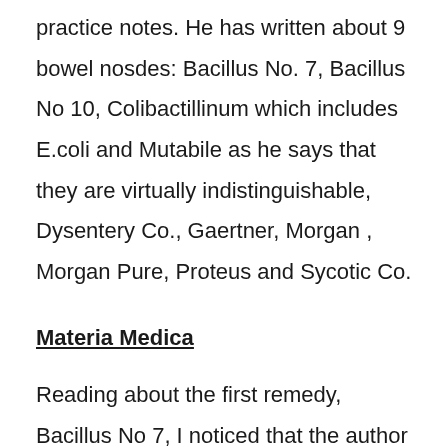practice notes. He has written about 9 bowel nosdes: Bacillus No. 7, Bacillus No 10, Colibactillinum which includes E.coli and Mutabile as he says that they are virtually indistinguishable, Dysentery Co., Gaertner, Morgan , Morgan Pure, Proteus and Sycotic Co.
Materia Medica
Reading about the first remedy, Bacillus No 7, I noticed that the author uses simple,